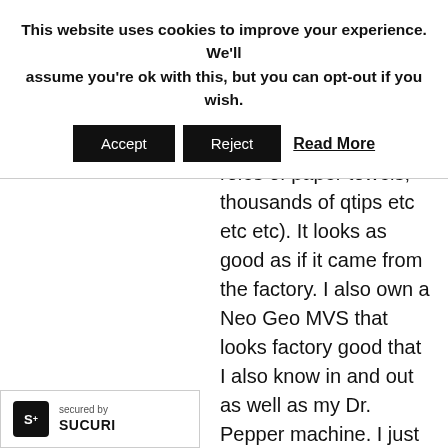This website uses cookies to improve your experience. We'll assume you're ok with this, but you can opt-out if you wish.
Accept | Reject | Read More
remember how many roles of paper towels, thousands of qtips etc etc etc). It looks as good as if it came from the factory. I also own a Neo Geo MVS that looks factory good that I also know in and out as well as my Dr. Pepper machine. I just don't know and can't even wrap my mind around this scart thing. The guide (hopefully I'll get one) would be for my Husband. Yall are all talking about various numbers and ments and it's like being dropped on a different planet with non-humanoid